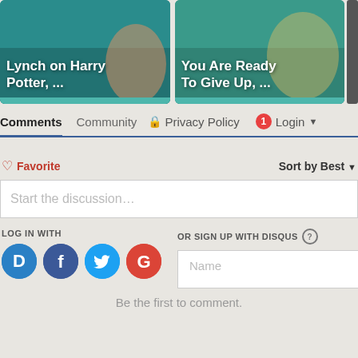[Figure (screenshot): Two podcast/media thumbnail images with teal borders. Left: 'Lynch on Harry Potter, ...' Right: 'You Are Ready To Give Up, ...']
Comments | Community | Privacy Policy | 1 | Login
Favorite | Sort by Best
Start the discussion...
LOG IN WITH
OR SIGN UP WITH DISQUS ?
[Figure (screenshot): Social login icons: D (Disqus, blue), f (Facebook, dark blue), bird (Twitter, light blue), G (Google, red). Name input field on the right.]
Be the first to comment.